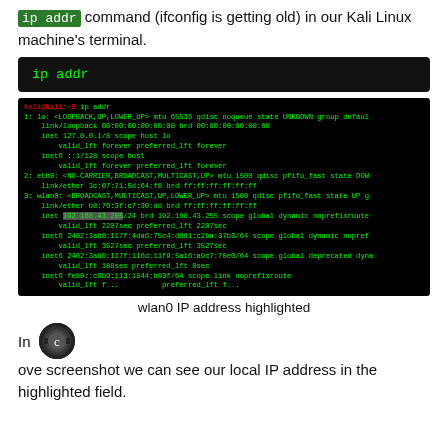ip addr command (ifconfig is getting old) in our Kali Linux machine's terminal.
[Figure (screenshot): Terminal code box showing 'ip addr' command on dark background]
[Figure (screenshot): Terminal screenshot showing output of 'ip addr' command in Kali Linux, with wlan0 IP address 192.168.43.205 highlighted]
wlan0 IP address highlighted
In the above screenshot we can see our local IP address in the highlighted field.